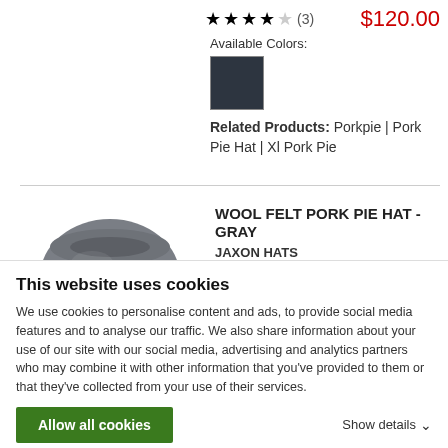★★★★☆ (3)  $120.00
Available Colors:
[Figure (other): Dark navy/charcoal color swatch square]
Related Products: Porkpie | Pork Pie Hat | Xl Pork Pie
[Figure (photo): Gray wool felt pork pie hat with feather band detail]
WOOL FELT PORK PIE HAT - GRAY
JAXON HATS
Crafted of soft wool felt, the Wool Felt Pork Pie Hat combines an elegant, stout telescope crown and stingy brim. A beloved offering by Jaxon Hats, this hat is
This website uses cookies
We use cookies to personalise content and ads, to provide social media features and to analyse our traffic. We also share information about your use of our site with our social media, advertising and analytics partners who may combine it with other information that you've provided to them or that they've collected from your use of their services.
Allow all cookies
Show details